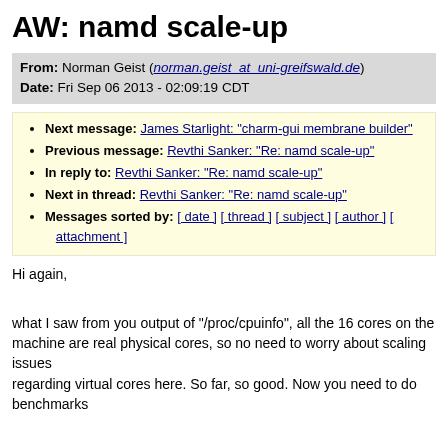AW: namd scale-up
From: Norman Geist (norman.geist_at_uni-greifswald.de)
Date: Fri Sep 06 2013 - 02:09:19 CDT
Next message: James Starlight: "charm-gui membrane builder"
Previous message: Revthi Sanker: "Re: namd scale-up"
In reply to: Revthi Sanker: "Re: namd scale-up"
Next in thread: Revthi Sanker: "Re: namd scale-up"
Messages sorted by: [ date ] [ thread ] [ subject ] [ author ] [ attachment ]
Hi again,
what I saw from you output of "/proc/cpuinfo", all the 16 cores on the
machine are real physical cores, so no need to worry about scaling issues
regarding virtual cores here. So far, so good. Now you need to do benchmarks